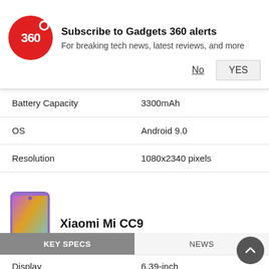[Figure (logo): Gadgets 360 red circular logo with '360' text in white]
Subscribe to Gadgets 360 alerts
For breaking tech news, latest reviews, and more
| Spec | Value |
| --- | --- |
| Battery Capacity | 3300mAh |
| OS | Android 9.0 |
| Resolution | 1080x2340 pixels |
[Figure (photo): Xiaomi Mi CC9 smartphone with colorful gradient wallpaper]
Xiaomi Mi CC9
KEY SPECS	NEWS
| Spec | Value |
| --- | --- |
| Display | 6.39-inch |